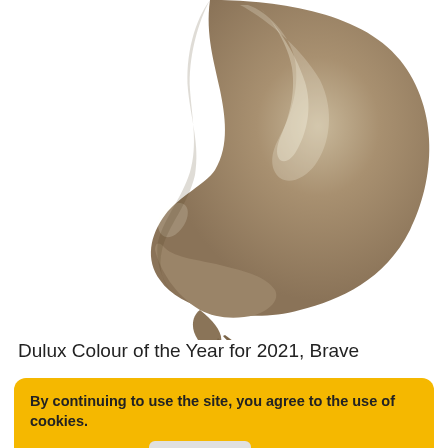[Figure (photo): A paint swatch swipe of warm taupe/beige colour (Dulux Brave Ground) on a white background, showing a thick curved brushstroke with glossy highlights.]
Dulux Colour of the Year for 2021, Brave Ground is one of the most versatile colors to match with any other color. This neutral shade with a warm undertone will make a great option when repainting your old
By continuing to use the site, you agree to the use of cookies.
more information
Accept